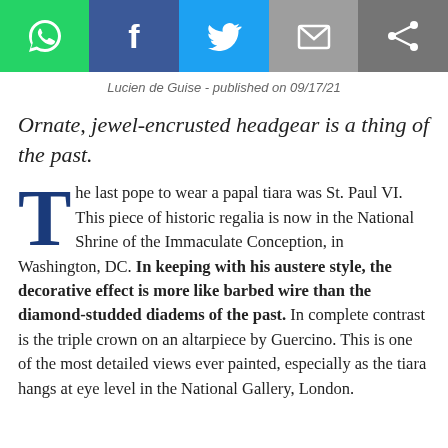[Figure (infographic): Social media sharing toolbar with WhatsApp (green), Facebook (blue), Twitter (light blue), Email (gray) buttons on the left, and a share icon button on the right (dark gray).]
Lucien de Guise - published on 09/17/21
Ornate, jewel-encrusted headgear is a thing of the past.
The last pope to wear a papal tiara was St. Paul VI. This piece of historic regalia is now in the National Shrine of the Immaculate Conception, in Washington, DC. In keeping with his austere style, the decorative effect is more like barbed wire than the diamond-studded diadems of the past. In complete contrast is the triple crown on an altarpiece by Guercino. This is one of the most detailed views ever painted, especially as the tiara hangs at eye level in the National Gallery, London.